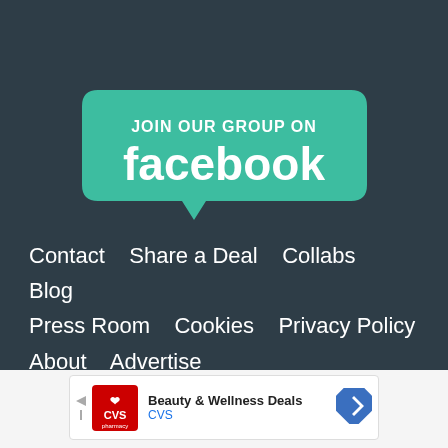[Figure (logo): Pink/magenta horizontal bar at top of dark background]
[Figure (illustration): Green speech-bubble shaped badge reading JOIN OUR GROUP ON facebook]
Contact   Share a Deal   Collabs   Blog
Press Room   Cookies   Privacy Policy
About   Advertise
[Figure (infographic): CVS Pharmacy advertisement banner: Beauty & Wellness Deals | CVS, with navigation arrow icon]